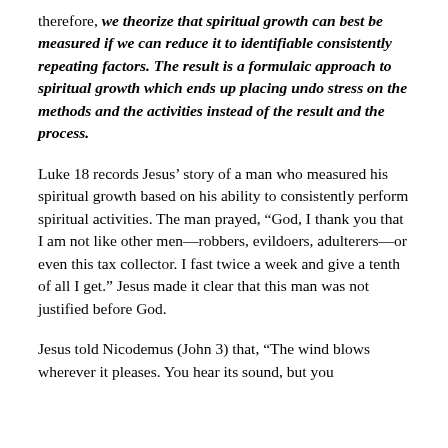therefore, we theorize that spiritual growth can best be measured if we can reduce it to identifiable consistently repeating factors. The result is a formulaic approach to spiritual growth which ends up placing undo stress on the methods and the activities instead of the result and the process.
Luke 18 records Jesus’ story of a man who measured his spiritual growth based on his ability to consistently perform spiritual activities. The man prayed, “God, I thank you that I am not like other men—robbers, evildoers, adulterers—or even this tax collector. I fast twice a week and give a tenth of all I get.” Jesus made it clear that this man was not justified before God.
Jesus told Nicodemus (John 3) that, “The wind blows wherever it pleases. You hear its sound, but you